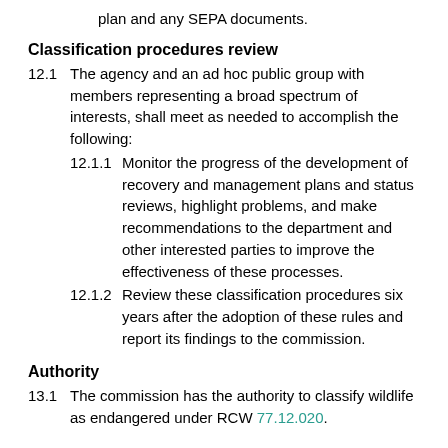interested public to comment on the recovery plan and any SEPA documents.
Classification procedures review
12.1   The agency and an ad hoc public group with members representing a broad spectrum of interests, shall meet as needed to accomplish the following:
12.1.1   Monitor the progress of the development of recovery and management plans and status reviews, highlight problems, and make recommendations to the department and other interested parties to improve the effectiveness of these processes.
12.1.2   Review these classification procedures six years after the adoption of these rules and report its findings to the commission.
Authority
13.1   The commission has the authority to classify wildlife as endangered under RCW 77.12.020.